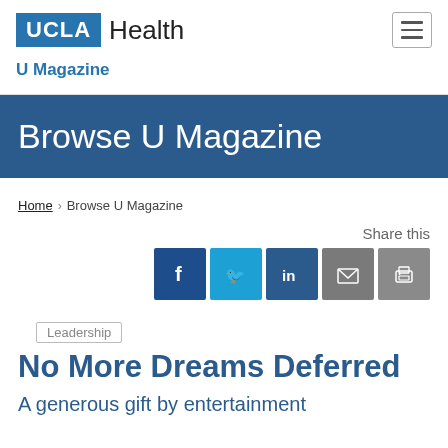[Figure (logo): UCLA Health logo with blue UCLA box and Health text, plus hamburger menu icon]
U Magazine
Browse U Magazine
Home > Browse U Magazine
Share this
[Figure (infographic): Social share icons: Facebook, Twitter, LinkedIn, Email, Print]
Leadership
No More Dreams Deferred
A generous gift by entertainment